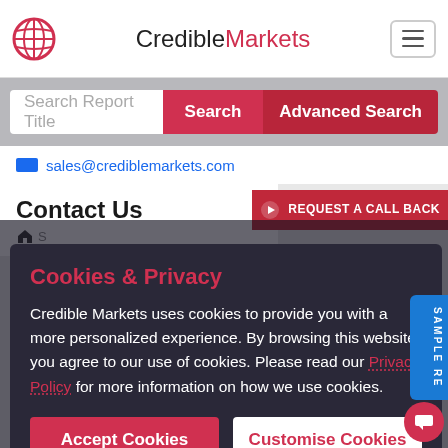CredibleMarkets
Search Report Title | Search | Advanced Search
sales@crediblemarkets.com
Contact Us
REQUEST A CALL BACK
Ge
Cookies & Privacy
Credible Markets uses cookies to provide you with a more personalized experience. By browsing this website you agree to our use of cookies. Please read our Privacy Policy for more information on how we use cookies.
Accept Cookies
Customise Cookies
CredibleMarkets